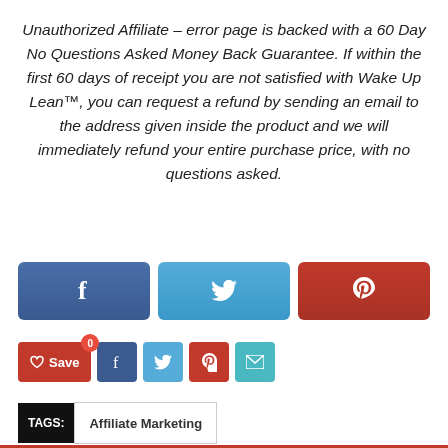Unauthorized Affiliate – error page is backed with a 60 Day No Questions Asked Money Back Guarantee. If within the first 60 days of receipt you are not satisfied with Wake Up Lean™, you can request a refund by sending an email to the address given inside the product and we will immediately refund your entire purchase price, with no questions asked.
[Figure (infographic): Three social share buttons: Facebook (dark blue), Twitter (light blue), Pinterest (red)]
[Figure (infographic): Save button with count 0, and small social share buttons: Facebook, Twitter, Pinterest, Email]
TAGS: Affiliate Marketing